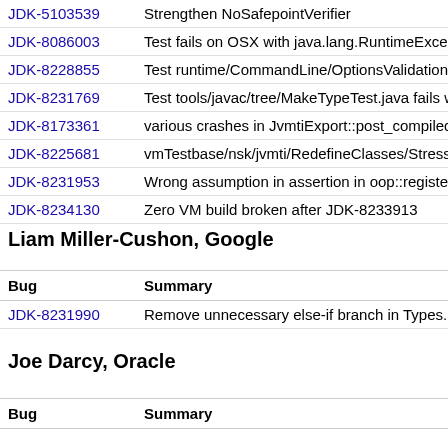| Bug | Summary |
| --- | --- |
| JDK-5103539 | Strengthen NoSafepointVerifier |
| JDK-8086003 | Test fails on OSX with java.lang.RuntimeExce |
| JDK-8228855 | Test runtime/CommandLine/OptionsValidation |
| JDK-8231769 | Test tools/javac/tree/MakeTypeTest.java fails w |
| JDK-8173361 | various crashes in JvmtiExport::post_compiled |
| JDK-8225681 | vmTestbase/nsk/jvmti/RedefineClasses/Stress |
| JDK-8231953 | Wrong assumption in assertion in oop::registe |
| JDK-8234130 | Zero VM build broken after JDK-8233913 |
Liam Miller-Cushon, Google
| Bug | Summary |
| --- | --- |
| JDK-8231990 | Remove unnecessary else-if branch in Types. |
Joe Darcy, Oracle
| Bug | Summary |
| --- | --- |